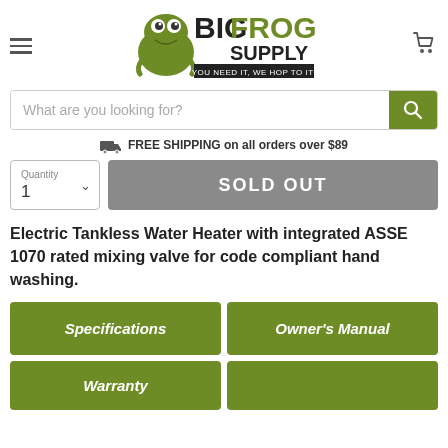[Figure (logo): Big Frog Supply logo with frog illustration. Text reads BIG FROG SUPPLY YOU NEED IT, WE HOP TO IT!]
[Figure (other): Search input field with placeholder 'What are you looking for?' and green search button]
FREE SHIPPING on all orders over $89
Quantity 1 SOLD OUT
Electric Tankless Water Heater with integrated ASSE 1070 rated mixing valve for code compliant hand washing.
Specifications
Owner's Manual
Warranty